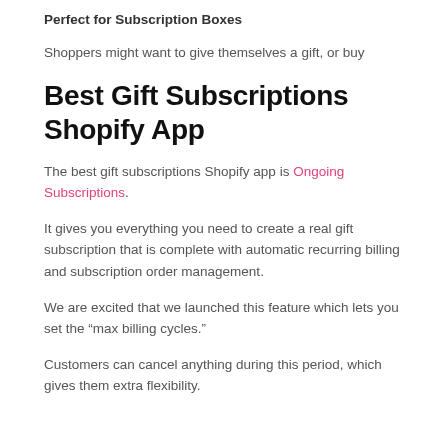Perfect for Subscription Boxes
Shoppers might want to give themselves a gift, or buy
Best Gift Subscriptions Shopify App
The best gift subscriptions Shopify app is Ongoing Subscriptions.
It gives you everything you need to create a real gift subscription that is complete with automatic recurring billing and subscription order management.
We are excited that we launched this feature which lets you set the “max billing cycles.”
Customers can cancel anything during this period, which gives them extra flexibility.